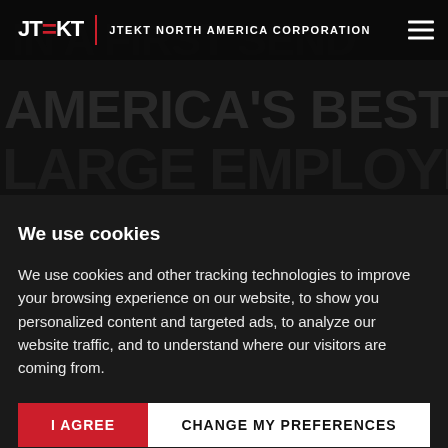JTEKT | JTEKT NORTH AMERICA CORPORATION
AMERICA'S BEST LARGE EMPLOYER
We use cookies
We use cookies and other tracking technologies to improve your browsing experience on our website, to show you personalized content and targeted ads, to analyze our website traffic, and to understand where our visitors are coming from.
I AGREE
CHANGE MY PREFERENCES